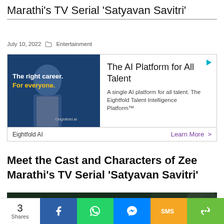Marathi's TV Serial 'Satyavan Savitri'
July 10, 2022  Entertainment
[Figure (infographic): Advertisement for Eightfold AI - The AI Platform for All Talent. Shows a man in a suit with text 'The right career. For everyone.' and eightfold.ai branding. Ad text: 'A single AI platform for all talent. The Eightfold Talent Intelligence Platform™'. Footer: 'Eightfold AI' and 'Learn More >']
Meet the Cast and Characters of Zee Marathi's TV Serial 'Satyavan Savitri'
[Figure (photo): Dark themed image with 'SATYAVAN SAVITRI' label text overlay, showing a nature/forest background with a blurred head visible on right side]
3 Shares